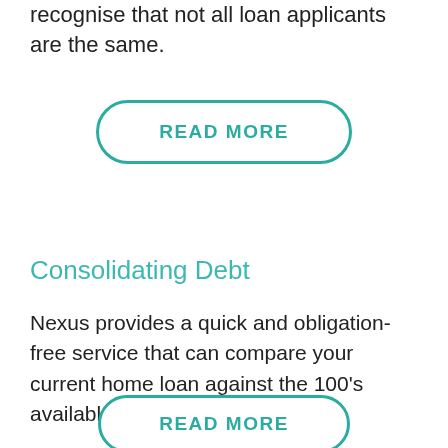recognise that not all loan applicants are the same.
[Figure (other): READ MORE button with teal rounded border]
Consolidating Debt
Nexus provides a quick and obligation-free service that can compare your current home loan against the 100's available from our panel.
[Figure (other): READ MORE button with teal rounded border (partially visible at bottom)]